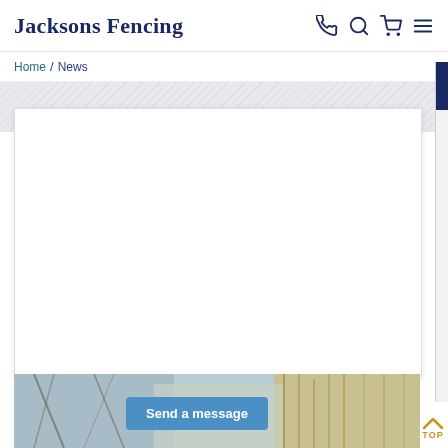Jacksons Fencing
Home / News
[Figure (screenshot): Website screenshot showing Jacksons Fencing navigation header with phone, search, cart and menu icons, breadcrumb navigation showing Home / News, a white content area card, and a partial outdoor nature photo at the bottom with a 'Send a message' blue button overlay and a 'TOP' back-to-top button.]